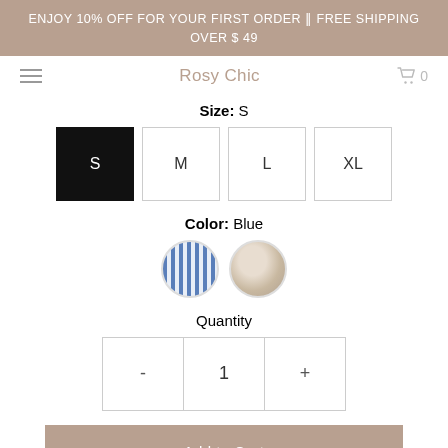ENJOY 10% OFF FOR YOUR FIRST ORDER || FREE SHIPPING OVER $ 49
Rosy Chic
Size: S
Color: Blue
Quantity
Add to Cart